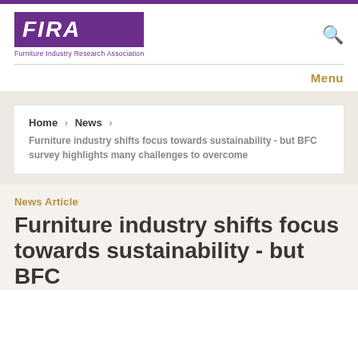FIRA - Furniture Industry Research Association
Menu
Home > News > Furniture industry shifts focus towards sustainability - but BFC survey highlights many challenges to overcome
News Article
Furniture industry shifts focus towards sustainability - but BFC